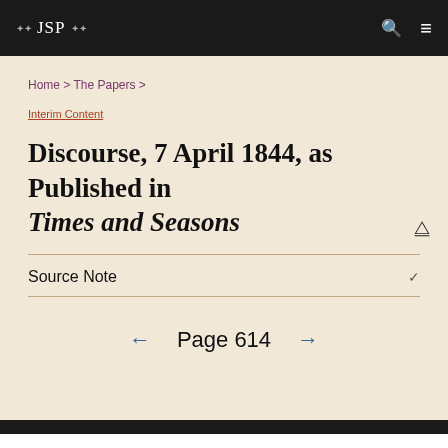❖ JSP ❖
Home > The Papers >
Interim Content
Discourse, 7 April 1844, as Published in Times and Seasons
Source Note
← Page 614 →